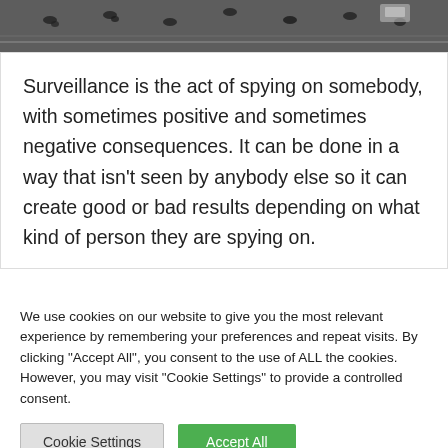[Figure (photo): Black and white overhead photo of surveillance cameras or birds on a surface]
Surveillance is the act of spying on somebody, with sometimes positive and sometimes negative consequences. It can be done in a way that isn't seen by anybody else so it can create good or bad results depending on what kind of person they are spying on.
We use cookies on our website to give you the most relevant experience by remembering your preferences and repeat visits. By clicking "Accept All", you consent to the use of ALL the cookies. However, you may visit "Cookie Settings" to provide a controlled consent.